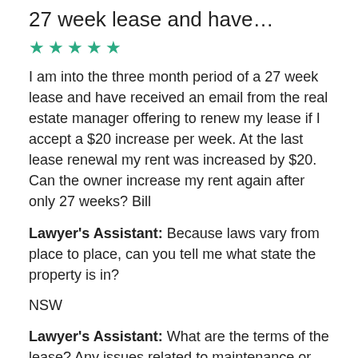27 week lease and have…
★★★★★
I am into the three month period of a 27 week lease and have received an email from the real estate manager offering to renew my lease if I accept a $20 increase per week. At the last lease renewal my rent was increased by $20. Can the owner increase my rent again after only 27 weeks? Bill
Lawyer's Assistant: Because laws vary from place to place, can you tell me what state the property is in?
NSW
Lawyer's Assistant: What are the terms of the lease? Any issues related to maintenance or upkeep?
No the owner is responsible for major upkeep. I had a quarterly inspection yesterday an all seemed fine.
Lawyer's Assistant: Is there anything else the Lawyer should know before I connect you? Rest assured that